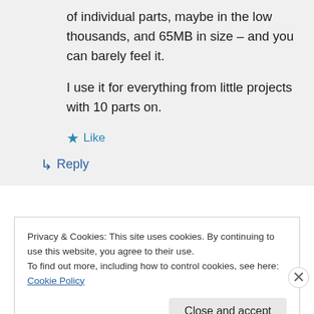of individual parts, maybe in the low thousands, and 65MB in size – and you can barely feel it.

I use it for everything from little projects with 10 parts on.
★ Like
↳ Reply
Privacy & Cookies: This site uses cookies. By continuing to use this website, you agree to their use.
To find out more, including how to control cookies, see here: Cookie Policy
Close and accept